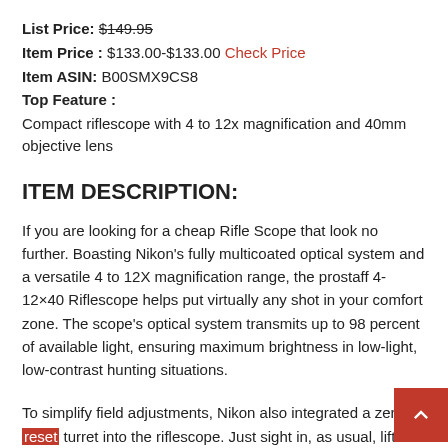List Price: $149.95
Item Price : $133.00-$133.00 Check Price
Item ASIN: B00SMX9CS8
Top Feature :
Compact riflescope with 4 to 12x magnification and 40mm objective lens
ITEM DESCRIPTION:
If you are looking for a cheap Rifle Scope that look no further. Boasting Nikon's fully multicoated optical system and a versatile 4 to 12X magnification range, the prostaff 4-12×40 Riflescope helps put virtually any shot in your comfort zone. The scope's optical system transmits up to 98 percent of available light, ensuring maximum brightness in low-light, low-contrast hunting situations.
To simplify field adjustments, Nikon also integrated a zero-reset turret into the riflescope. Just sight in, as usual, lift the spring-loaded adjuster to the last stop, turn...